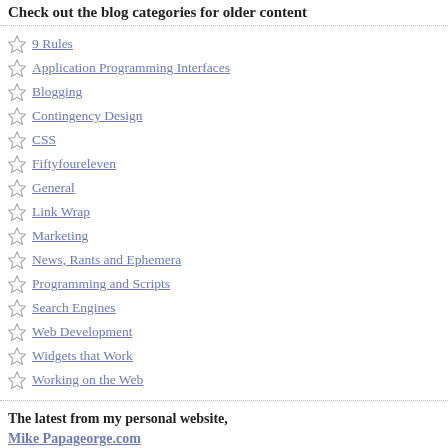Check out the blog categories for older content
9 Rules
Application Programming Interfaces
Blogging
Contingency Design
CSS
Fiftyfoureleven
General
Link Wrap
Marketing
News, Rants and Ephemera
Programming and Scripts
Search Engines
Web Development
Widgets that Work
Working on the Web
The latest from my personal website,
Mike Papageorge.com